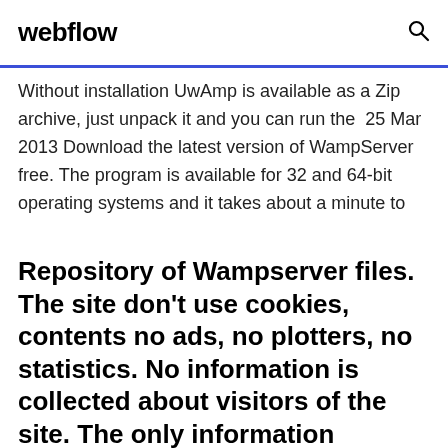webflow
Without installation UwAmp is available as a Zip archive, just unpack it and you can run the  25 Mar 2013 Download the latest version of WampServer free. The program is available for 32 and 64-bit operating systems and it takes about a minute to
Repository of Wampserver files. The site don't use cookies, contents no ads, no plotters, no statistics. No information is collected about visitors of the site. The only information